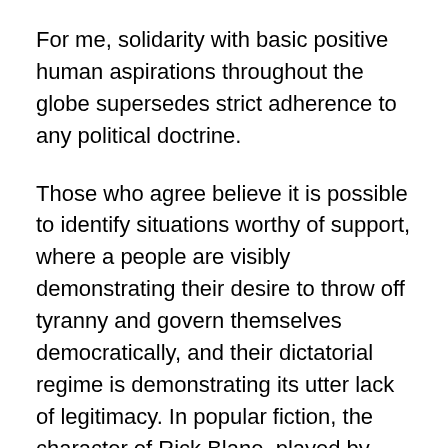For me, solidarity with basic positive human aspirations throughout the globe supersedes strict adherence to any political doctrine.
Those who agree believe it is possible to identify situations worthy of support, where a people are visibly demonstrating their desire to throw off tyranny and govern themselves democratically, and their dictatorial regime is demonstrating its utter lack of legitimacy. In popular fiction, the character of Rick Blane, played by Humphrey Bogart in the 1942 movie Casablanca, could identify and support such revolutions. The French prefect of police in the film accuses Rick Blane of being a “sentimentalist,” because “In 1935 you ran guns to Ethiopia. In 1936, you fought in Spain on the Loyalist side.” Blane replies sardonically “And got well paid for it on both occasions.” The prefect rests his case with “The winning side would have paid you…